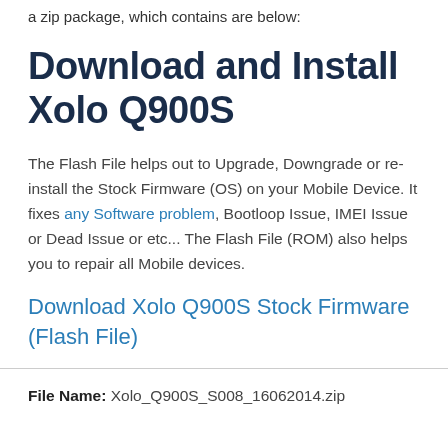a zip package, which contains are below:
Download and Install Xolo Q900S
The Flash File helps out to Upgrade, Downgrade or re-install the Stock Firmware (OS) on your Mobile Device. It fixes any Software problem, Bootloop Issue, IMEI Issue or Dead Issue or etc... The Flash File (ROM) also helps you to repair all Mobile devices.
Download Xolo Q900S Stock Firmware (Flash File)
File Name: Xolo_Q900S_S008_16062014.zip